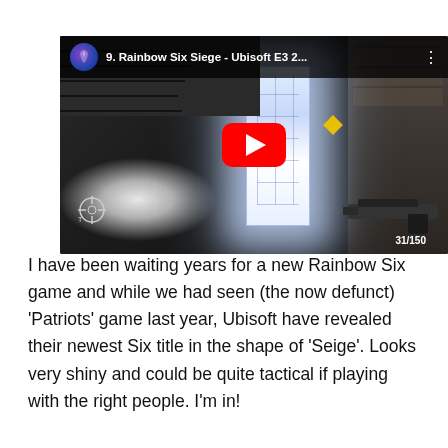[Figure (screenshot): YouTube video embed thumbnail for 'Rainbow Six Siege - Ubisoft E3 2...' showing a first-person shooter game scene with a bright glowing doorway/window, dark interior environment, weapon visible at bottom right, and the YouTube red play button in the center.]
I have been waiting years for a new Rainbow Six game and while we had seen (the now defunct) 'Patriots' game last year, Ubisoft have revealed their newest Six title in the shape of 'Seige'. Looks very shiny and could be quite tactical if playing with the right people. I'm in!